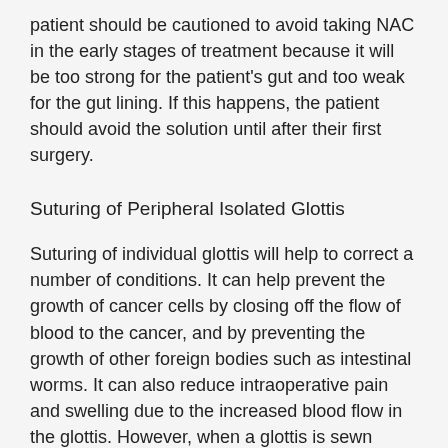patient should be cautioned to avoid taking NAC in the early stages of treatment because it will be too strong for the patient's gut and too weak for the gut lining. If this happens, the patient should avoid the solution until after their first surgery.
Suturing of Peripheral Isolated Glottis
Suturing of individual glottis will help to correct a number of conditions. It can help prevent the growth of cancer cells by closing off the flow of blood to the cancer, and by preventing the growth of other foreign bodies such as intestinal worms. It can also reduce intraoperative pain and swelling due to the increased blood flow in the glottis. However, when a glottis is sewn together, there can be bleeding or infection at the site of the new insertion. This can be treated by using stitches and putting the patient back to the